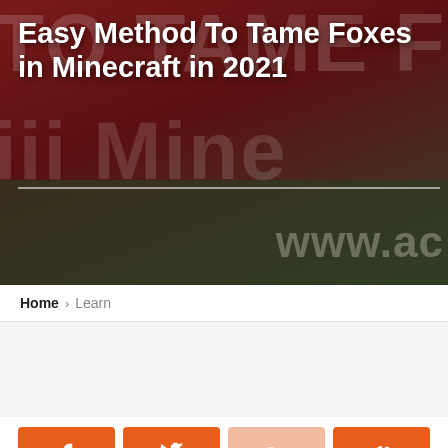[Figure (photo): Hero banner image with dark red and olive background showing large faded text 'TO TAME FO' and 'in Mine' plus 'www.ac' watermark. Blog article header image for Minecraft fox taming article.]
Easy Method To Tame Foxes in Minecraft in 2021
Home > Learn
[Figure (other): Advertisement placeholder area (blank white/gray space)]
There's no doubt that Minecraft is one of the most